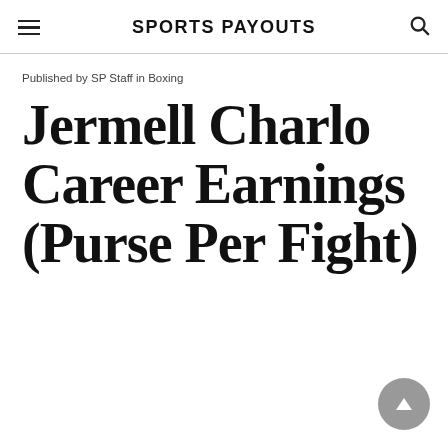SPORTS PAYOUTS
Published by SP Staff in Boxing
Jermell Charlo Career Earnings (Purse Per Fight)